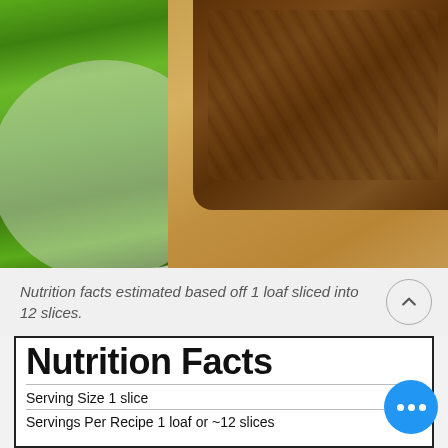[Figure (photo): Photo of zucchini on a plate next to sliced zucchini bread on a wooden cutting board]
Nutrition facts estimated based off 1 loaf sliced into 12 slices.
Nutrition Facts
Serving Size 1 slice
Servings Per Recipe 1 loaf or ~12 slices